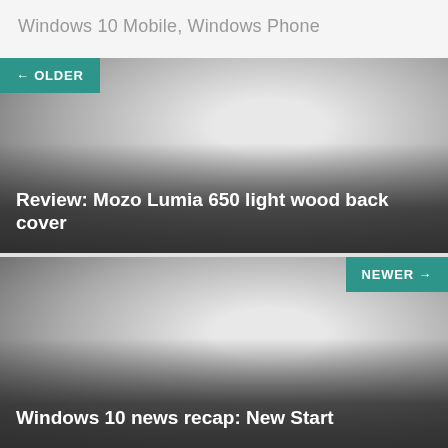Windows 10 Mobile, Windows Phone
[Figure (photo): Article card with gray gradient background showing article title 'Review: Mozo Lumia 650 light wood back cover' with OLDER navigation button]
[Figure (photo): Article card with gray gradient background showing article title 'Windows 10 news recap: New Start' with NEWER navigation button]